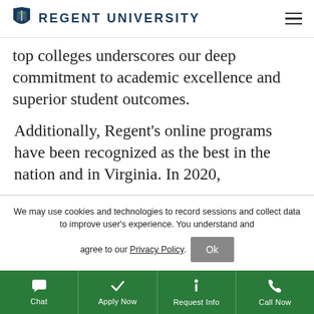Regent University
top colleges underscores our deep commitment to academic excellence and superior student outcomes.
Additionally, Regent's online programs have been recognized as the best in the nation and in Virginia. In 2020,
We may use cookies and technologies to record sessions and collect data to improve user's experience. You understand and agree to our Privacy Policy.
Chat | Apply Now | Request Info | Call Now